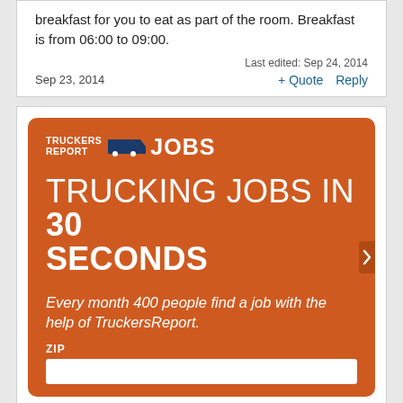breakfast for you to eat as part of the room. Breakfast is from 06:00 to 09:00.
Last edited: Sep 24, 2014
Sep 23, 2014
+ Quote   Reply
[Figure (infographic): TruckersReport Jobs advertisement banner with orange background. Shows logo 'TRUCKERS REPORT JOBS' with a truck icon, headline 'TRUCKING JOBS IN 30 SECONDS', subtext 'Every month 400 people find a job with the help of TruckersReport.', and a ZIP input field.]